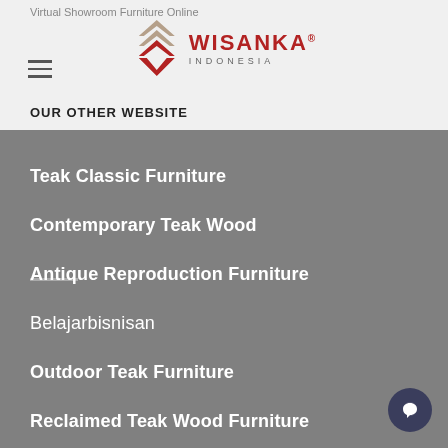Virtual Showroom Furniture Online
[Figure (logo): Wisanka Indonesia logo with chevron pattern in red and brown]
OUR OTHER WEBSITE
Teak Classic Furniture
Contemporary Teak Wood
Antique Reproduction Furniture
Belajarbisnisan
Outdoor Teak Furniture
Reclaimed Teak Wood Furniture
Jepara Green Furniture